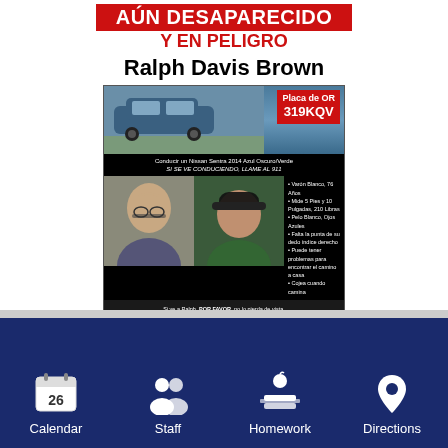AÚN DESAPARECIDO Y EN PELIGRO
Ralph Davis Brown
[Figure (infographic): Missing person flyer in Spanish for Ralph Davis Brown. Shows a blue 2014 Nissan Sentra with Oregon license plate 319KQV, two photos of an older white male, bullet points describing him (Varón Blanco 76 años, 5 pies 10 pulgadas 210 libras, Pelo Blanco Ojos Azules, Falta la punta de su dedo índice derecho, puede tener problemas para encontrar el camino a casa, Cojea cuando camina), and a QR code with contact instructions.]
[Figure (infographic): Website navigation footer on dark blue background with four icons: Calendar (date 26), Staff (people icon), Homework (books icon), Directions (map pin icon)]